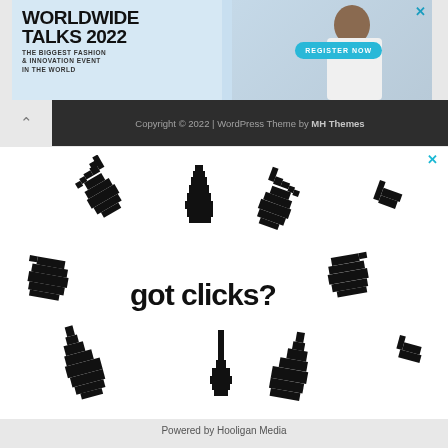[Figure (advertisement): Worldwide Talks 2022 fashion event banner advertisement with model photo, geometric shapes, and Register Now button]
Copyright © 2022 | WordPress Theme by MH Themes
[Figure (advertisement): Got clicks? advertisement with pixelated hand cursor icons in various pointing directions]
Powered by Hooligan Media